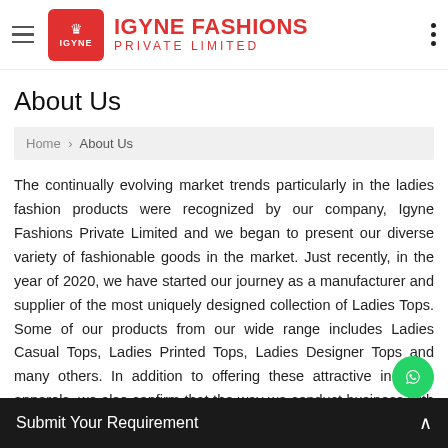IGYNE FASHIONS PRIVATE LIMITED
About Us
Home › About Us
The continually evolving market trends particularly in the ladies fashion products were recognized by our company, Igyne Fashions Private Limited and we began to present our diverse variety of fashionable goods in the market. Just recently, in the year of 2020, we have started our journey as a manufacturer and supplier of the most uniquely designed collection of Ladies Tops. Some of our products from our wide range includes Ladies Casual Tops, Ladies Printed Tops, Ladies Designer Tops and many others. In addition to offering these attractive in looks apparels, we also confirm that the way we conduct business with customers in a strictly ethical manner. Moreover, Mr. Abhay is our MD who has graduated in Textile Chemistry from the Mumbai ty
Submit Your Requirement